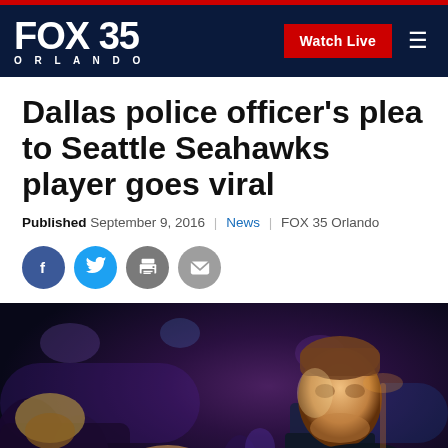[Figure (logo): FOX 35 Orlando logo on dark navy navbar with Watch Live red button and hamburger menu icon]
Dallas police officer's plea to Seattle Seahawks player goes viral
Published September 9, 2016 | News | FOX 35 Orlando
[Figure (photo): Night scene showing a police officer in uniform lit by purple/blue lighting amid a crowd]
[Figure (infographic): Social sharing icons row: Facebook (blue circle), Twitter (cyan circle), Print (gray circle), Email (gray circle)]